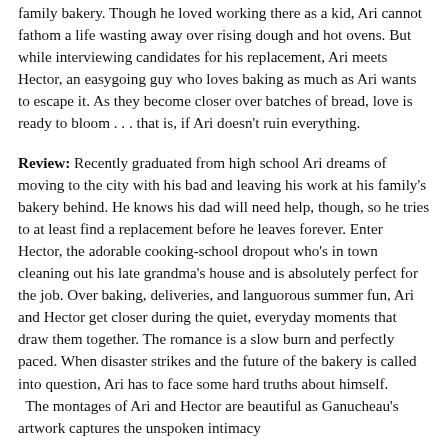family bakery. Though he loved working there as a kid, Ari cannot fathom a life wasting away over rising dough and hot ovens. But while interviewing candidates for his replacement, Ari meets Hector, an easygoing guy who loves baking as much as Ari wants to escape it. As they become closer over batches of bread, love is ready to bloom . . . that is, if Ari doesn't ruin everything.
Review: Recently graduated from high school Ari dreams of moving to the city with his bad and leaving his work at his family's bakery behind. He knows his dad will need help, though, so he tries to at least find a replacement before he leaves forever. Enter Hector, the adorable cooking-school dropout who's in town cleaning out his late grandma's house and is absolutely perfect for the job. Over baking, deliveries, and languorous summer fun, Ari and Hector get closer during the quiet, everyday moments that draw them together. The romance is a slow burn and perfectly paced. When disaster strikes and the future of the bakery is called into question, Ari has to face some hard truths about himself.
  The montages of Ari and Hector are beautiful as Ganucheau's artwork captures the unspoken intimacy